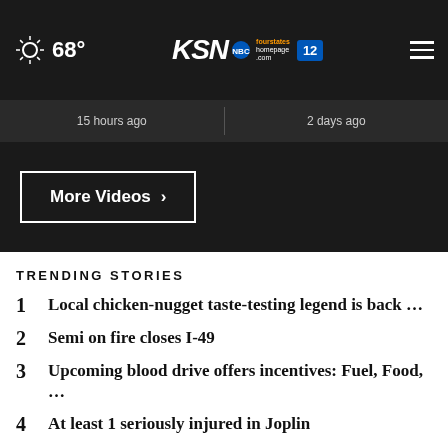68° KSN fourstates homepage.com 12
15 hours ago
2 days ago
More Videos ›
TRENDING STORIES
1 Local chicken-nugget taste-testing legend is back …
2 Semi on fire closes I-49
3 Upcoming blood drive offers incentives: Fuel, Food, …
4 At least 1 seriously injured in Joplin